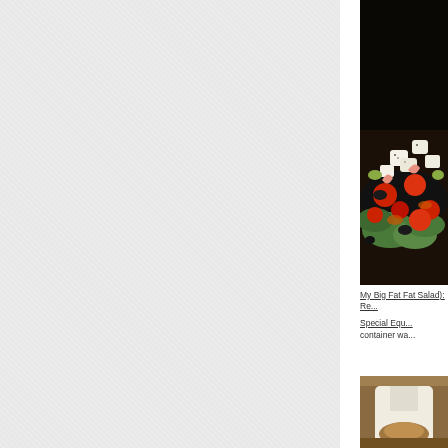[Figure (photo): Gray textured background panel on the left side of the page]
[Figure (photo): Greek salad with tomatoes, feta cheese, olives, and lettuce on a dark plate]
My Big Fat Salad): Re...
Special Equ... container w...
[Figure (photo): Person in white chef coat holding food item, partially visible]